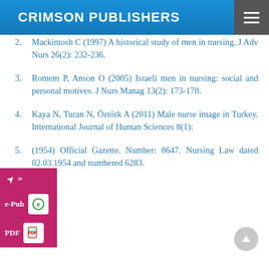CRIMSON PUBLISHERS
2. Mackintosh C (1997) A historical study of men in nursing. J Adv Nurs 26(2): 232-236.
3. Romem P, Anson O (2005) Israeli men in nursing: social and personal motives. J Nurs Manag 13(2): 173-178.
4. Kaya N, Turan N, Öztörk A (2011) Male nurse image in Turkey. International Journal of Human Sciences 8(1):
5. (1954) Official Gazette. Number: 8647. Nursing Law dated 02.03.1954 and numbered 6283.